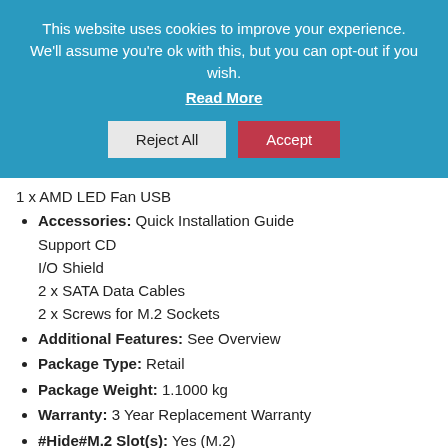This website uses cookies to improve your experience. We'll assume you're ok with this, but you can opt-out if you wish. Read More
1 x AMD LED Fan USB
Accessories: Quick Installation Guide Support CD I/O Shield 2 x SATA Data Cables 2 x Screws for M.2 Sockets
Additional Features: See Overview
Package Type: Retail
Package Weight: 1.1000 kg
Warranty: 3 Year Replacement Warranty
#Hide#M.2 Slot(s): Yes (M.2)
#Hide#RGB Lighting: Yes (RGB)
#Hide#No. LAN Ports: 1 x LAN